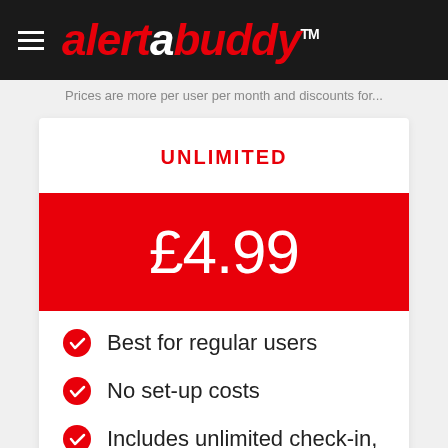alertabuddy™
Prices are more per user per month and discounts for...
UNLIMITED
£4.99
Best for regular users
No set-up costs
Includes unlimited check-in,